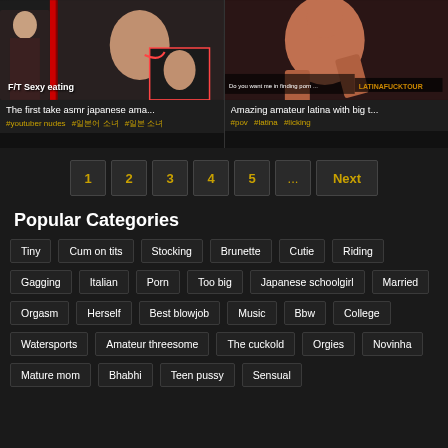[Figure (screenshot): Video thumbnail for japanese amateur video with red bar overlay and 'F/T Sexy eating' text]
The first take asmr japanese ama...
#youtuber nudes  #일본어 소녀  #일본 소녀
[Figure (screenshot): Video thumbnail for latina amateur video with LATINAFUCKTOUR watermark]
Amazing amateur latina with big t...
#pov  #latina  #licking
1
2
3
4
5
...
Next
Popular Categories
Tiny
Cum on tits
Stocking
Brunette
Cutie
Riding
Gagging
Italian
Porn
Too big
Japanese schoolgirl
Married
Orgasm
Herself
Best blowjob
Music
Bbw
College
Watersports
Amateur threesome
The cuckold
Orgies
Novinha
Mature mom
Bhabhi
Teen pussy
Sensual